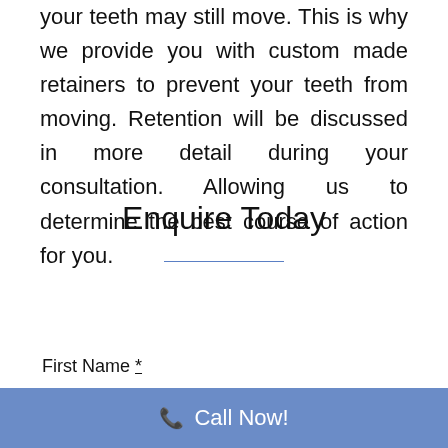your teeth may still move. This is why we provide you with custom made retainers to prevent your teeth from moving. Retention will be discussed in more detail during your consultation. Allowing us to determine the best course of action for you.
Enquire Today
First Name *
Call Now!